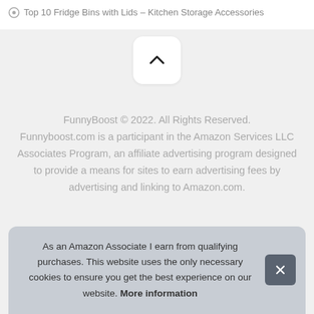Top 10 Fridge Bins with Lids – Kitchen Storage Accessories
[Figure (other): Scroll-to-top button with chevron/caret up arrow icon on light gray background]
FunnyBoost © 2022. All Rights Reserved. Funnyboost.com is a participant in the Amazon Services LLC Associates Program, an affiliate advertising program designed to provide a means for sites to earn advertising fees by advertising and linking to Amazon.com.
As an Amazon Associate I earn from qualifying purchases. This website uses the only necessary cookies to ensure you get the best experience on our website. More information